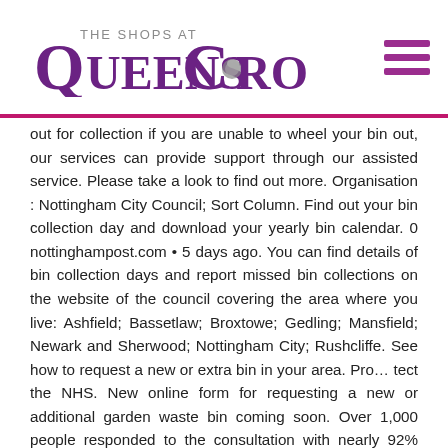[Figure (logo): The Shops at Queens Crossing logo in purple and grey]
out for collection if you are unable to wheel your bin out, our services can provide support through our assisted service. Please take a look to find out more. Organisation : Nottingham City Council; Sort Column. Find out your bin collection day and download your yearly bin calendar. 0 nottinghampost.com • 5 days ago. You can find details of bin collection days and report missed bin collections on the website of the council covering the area where you live: Ashfield; Bassetlaw; Broxtowe; Gedling; Mansfield; Newark and Sherwood; Nottingham City; Rushcliffe. See how to request a new or extra bin in your area. Pro… tect the NHS. New online form for requesting a new or additional garden waste bin coming soon. Over 1,000 people responded to the consultation with nearly 92% supporting an option to offer garden waste collections into November in [...] Council and democracy ; Culture and leisure ; Transport ; Planning and environment ; Waste and recycling ; Business and community ; Jobs and working ; Contact and complaints ; Homepage; Latest news. Nottingham City Council 3.6. As part of its push to drop single-use plastic from its operations, Nottingham City Council has begun rolling out brand new 'ultimate bins' – a 1100 litre capacity large recycling bin that can be used to recycle cardboard, plastic, paper, food and drinks cans and glass. Nottingham City Council is reminding residents bin collection days will change over the Christmas and New Year period. Payment enquiry. First care home residents in Notts get COVID vaccine. The new Waste Local Plan will provide the future planning strategy for waste management in Nottinghamshire and Nottingham until 2038 and will aim to provide … Bee